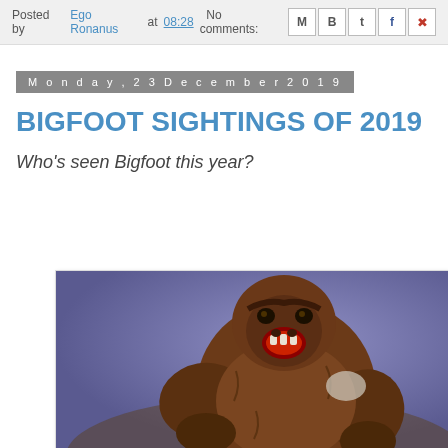Posted by Ego Ronanus at 08:28   No comments:
Monday, 23 December 2019
BIGFOOT SIGHTINGS OF 2019
Who's seen Bigfoot this year?
[Figure (illustration): Painting of a large ape-like creature (Bigfoot/Sasquatch) with its mouth open, roaring, set against a purple-blue background. The creature is brown and muscular, shown from the waist up.]